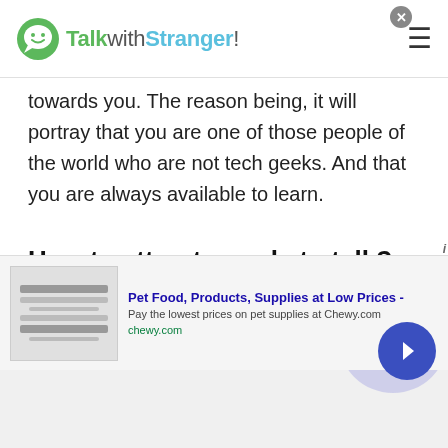TalkwithStranger!
towards you. The reason being, it will portray that you are one of those people of the world who are not tech geeks. And that you are always available to learn.
How to attract people to talk?
Now since you will be on a platform where chat with people of Burundi or talking to a stranger is the key priority. However, there are some complications that could rise with it. Why would people talk to you?
[Figure (other): Advertisement banner for Chewy.com: Pet Food, Products, Supplies at Low Prices. Pay the lowest prices on pet supplies at Chewy.com. Shows a product image placeholder on the left, ad text in the middle, a close button (x), and a forward arrow button on a purple circle background on the right.]